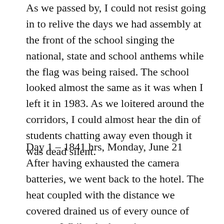As we passed by, I could not resist going in to relive the days we had assembly at the front of the school singing the national, state and school anthems while the flag was being raised. The school looked almost the same as it was when I left it in 1983. As we loitered around the corridors, I could almost hear the din of students chatting away even though it was dead silent.
Day 1 – 1841 hrs, Monday, June 21
After having exhausted the camera batteries, we went back to the hotel. The heat coupled with the distance we covered drained us of every ounce of energy. Whilst the batteries were recharging, we promptly fell asleep in the comfort of the inviting mattress and coolness